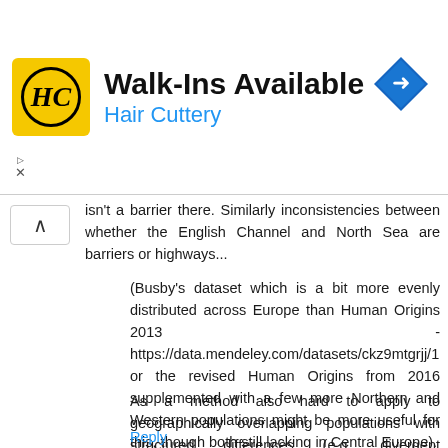[Figure (infographic): Hair Cuttery advertisement banner with HC logo, 'Walk-Ins Available' heading, 'Hair Cuttery' subheading in blue, and a blue navigation arrow icon on the right]
isn't a barrier there. Similarly inconsistencies between whether the English Channel and North Sea are barriers or highways...
(Busby's dataset which is a bit more evenly distributed across Europe than Human Origins 2013 - https://data.mendeley.com/datasets/ckz9mtgrjj/1 or the revised Human Origins from 2016 supplemented with a few more Northern and Western populations might be more useful for this, though both still lacking in Central Europe).
As a method also hard to apply to geographically overlapping populations with structured differences (e.g. divergent subsistance / caste populations in the same region).
Reply